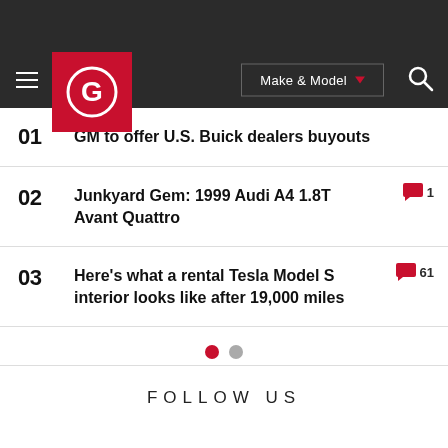Autoblog — Make & Model navigation bar with logo
01 GM to offer U.S. Buick dealers buyouts
02 Junkyard Gem: 1999 Audi A4 1.8T Avant Quattro — 1 comment
03 Here's what a rental Tesla Model S interior looks like after 19,000 miles — 61 comments
Pagination dots (page 1 of 2)
FOLLOW US